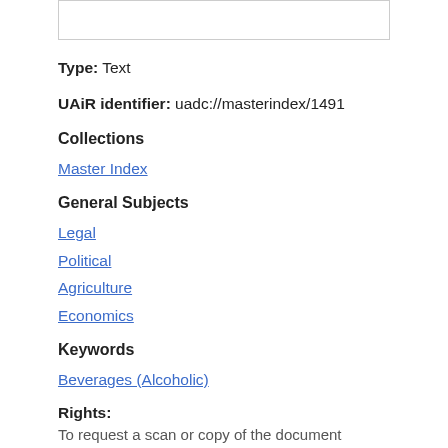Type: Text
UAiR identifier: uadc://masterindex/1491
Collections
Master Index
General Subjects
Legal
Political
Agriculture
Economics
Keywords
Beverages (Alcoholic)
Rights:
To request a scan or copy of the document